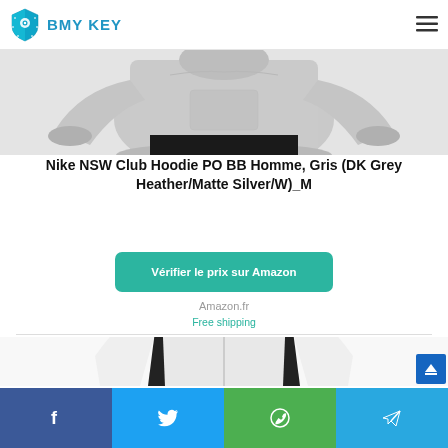BMY KEY
[Figure (photo): Person wearing a grey Nike hoodie sweatshirt, cropped to show torso with black pants]
Nike NSW Club Hoodie PO BB Homme, Gris (DK Grey Heather/Matte Silver/W)_M
[Figure (other): Green rounded button with text: Vérifier le prix sur Amazon]
Amazon.fr
Free shipping
[Figure (photo): White zip-up jacket/hoodie product photo, partially visible]
[Figure (other): Social share bar with Facebook, Twitter, WhatsApp, and Telegram buttons]